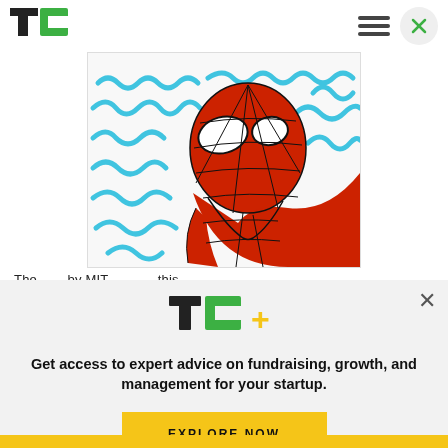TechCrunch navigation bar with TC logo, hamburger menu, and close button
[Figure (illustration): Spider-Man comic illustration with red costume and blue wavy lines on white background]
The ... by MIT ... this ...
[Figure (logo): TC+ logo in green and yellow]
Get access to expert advice on fundraising, growth, and management for your startup.
EXPLORE NOW